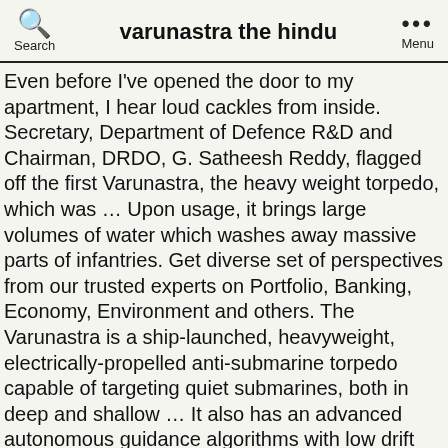varunastra the hindu
Even before I've opened the door to my apartment, I hear loud cackles from inside. Secretary, Department of Defence R&D and Chairman, DRDO, G. Satheesh Reddy, flagged off the first Varunastra, the heavy weight torpedo, which was … Upon usage, it brings large volumes of water which washes away massive parts of infantries. Get diverse set of perspectives from our trusted experts on Portfolio, Banking, Economy, Environment and others. The Varunastra is a ship-launched, heavyweight, electrically-propelled anti-submarine torpedo capable of targeting quiet submarines, both in deep and shallow … It also has an advanced autonomous guidance algorithms with low drift navigational aids, insensitive warhead which can operate in various combat scenarios. Get Full Digital Access To The Hindu BusinessLine, The Hindu, Frontline, Sportstar, Crossword+, Epaper replica of The Hindu and The Hindu BusinessLine in ONE SINGLE DISCOUNTED PRICE!In stories, it is said to assume any weapon's